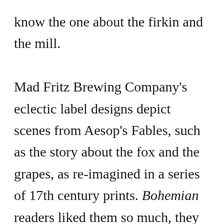know the one about the firkin and the mill.

Mad Fritz Brewing Company's eclectic label designs depict scenes from Aesop's Fables, such as the story about the fox and the grapes, as re-imagined in a series of 17th century prints. Bohemian readers liked them so much, they voted